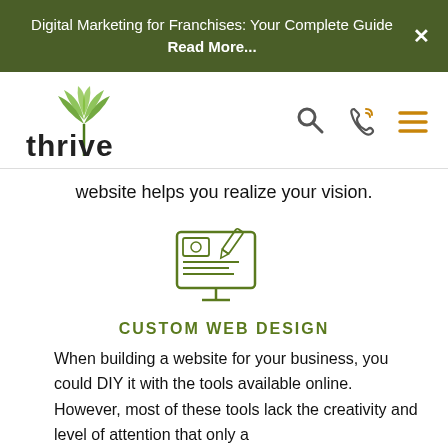Digital Marketing for Franchises: Your Complete Guide Read More...
[Figure (logo): Thrive agency logo with green leaf/plant icon and lowercase 'thrive' text]
[Figure (illustration): Navigation icons: search magnifying glass, phone/call icon, hamburger menu icon]
website helps you realize your vision.
[Figure (illustration): Green outline icon of a desktop monitor with web design editing elements (pencil, content blocks)]
CUSTOM WEB DESIGN
When building a website for your business, you could DIY it with the tools available online. However, most of these tools lack the creativity and level of attention that only a